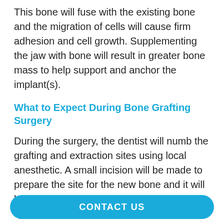This bone will fuse with the existing bone and the migration of cells will cause firm adhesion and cell growth. Supplementing the jaw with bone will result in greater bone mass to help support and anchor the implant(s).
What to Expect During Bone Grafting Surgery
During the surgery, the dentist will numb the grafting and extraction sites using local anesthetic. A small incision will be made to prepare the site for the new bone and it will be anchored into place. On occasion, a synthetic membrane may be used to cover the new bone. This membrane prevents soft tissue and bacterial invasions, and encourages new bone growth. The surgery does not require an overnight
CONTACT US